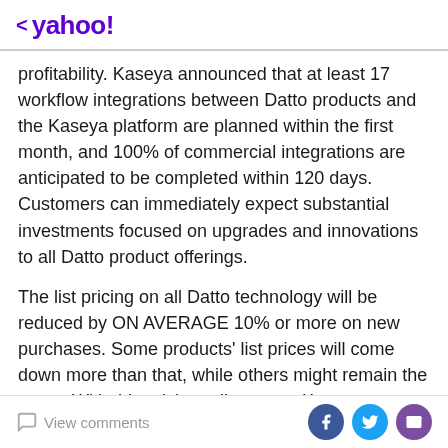< yahoo!
profitability. Kaseya announced that at least 17 workflow integrations between Datto products and the Kaseya platform are planned within the first month, and 100% of commercial integrations are anticipated to be completed within 120 days. Customers can immediately expect substantial investments focused on upgrades and innovations to all Datto product offerings.
The list pricing on all Datto technology will be reduced by ON AVERAGE 10% or more on new purchases. Some products' list prices will come down more than that, while others might remain the same. With this pricing adjustment, Kaseya continues to provide the only purpose-built platform for the MSP that is priced right.
View comments